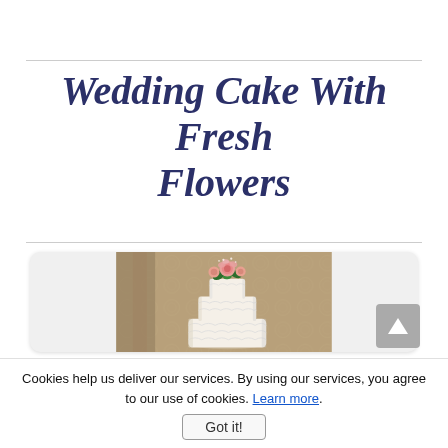Wedding Cake With Fresh Flowers
[Figure (photo): A white tiered wedding cake decorated with pink roses and green foliage on top, with decorative lacework frosting, displayed in an ornate golden-wallpapered room.]
Cookies help us deliver our services. By using our services, you agree to our use of cookies. Learn more.
Got it!